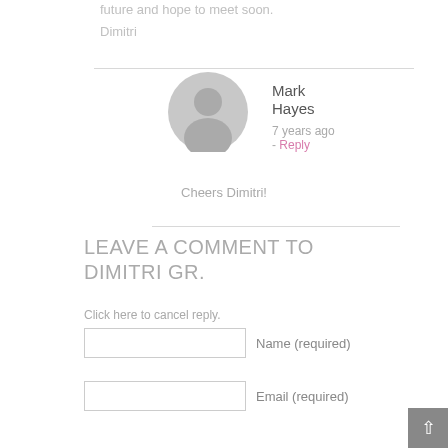future and hope to meet soon.
Dimitri
Mark Hayes
7 years ago - Reply
Cheers Dimitri!
LEAVE A COMMENT TO DIMITRI GR.
Click here to cancel reply.
Name (required)
Email (required)